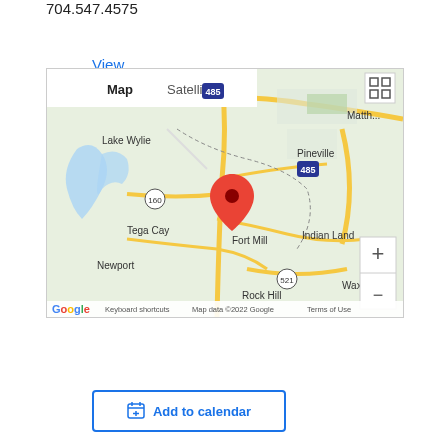704.547.4575
View Venue Website
[Figure (map): Google Map showing area around Fort Mill, SC with a red location pin marker. Map shows Lake Wylie, Tega Cay, Pineville, Indian Land, Rock Hill, Newport, Waxhaw, Matthews areas. Shows interstate highways I-485, I-77, routes 160, 521. Map controls include Map/Satellite toggle, expand button, and zoom +/- buttons. Footer shows Google logo, Keyboard shortcuts, Map data ©2022 Google, Terms of Use.]
Add to calendar